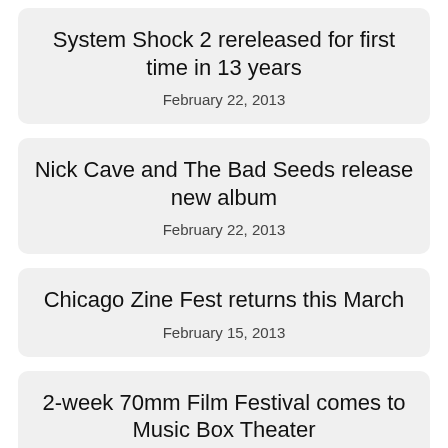System Shock 2 rereleased for first time in 13 years
February 22, 2013
Nick Cave and The Bad Seeds release new album
February 22, 2013
Chicago Zine Fest returns this March
February 15, 2013
2-week 70mm Film Festival comes to Music Box Theater